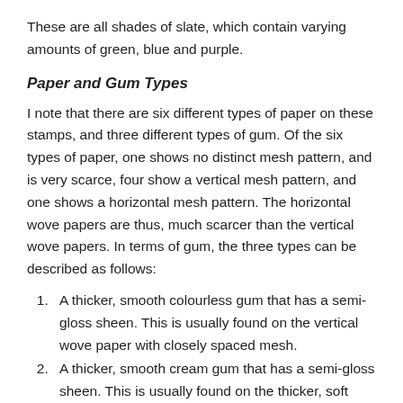These are all shades of slate, which contain varying amounts of green, blue and purple.
Paper and Gum Types
I note that there are six different types of paper on these stamps, and three different types of gum. Of the six types of paper, one shows no distinct mesh pattern, and is very scarce, four show a vertical mesh pattern, and one shows a horizontal mesh pattern. The horizontal wove papers are thus, much scarcer than the vertical wove papers. In terms of gum, the three types can be described as follows:
A thicker, smooth colourless gum that has a semi-gloss sheen. This is usually found on the vertical wove paper with closely spaced mesh.
A thicker, smooth cream gum that has a semi-gloss sheen. This is usually found on the thicker, soft vertical